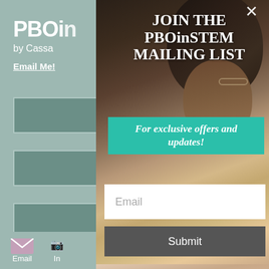[Figure (screenshot): PBOinSTEM website screenshot showing a sidebar with logo 'PBOin' by Cassa, Email Me link, input form fields, and bottom navigation icons for Email and Instagram. A popup overlay shows 'JOIN THE PBOinSTEM MAILING LIST' with 'For exclusive offers and updates!' on a teal banner, an email input field, and a Submit button, set against a photo of a woman with curly hair and a child using a tablet.]
JOIN THE PBOinSTEM MAILING LIST
For exclusive offers and updates!
Email
Submit
PBOin
by Cassa
Email Me!
Email
In